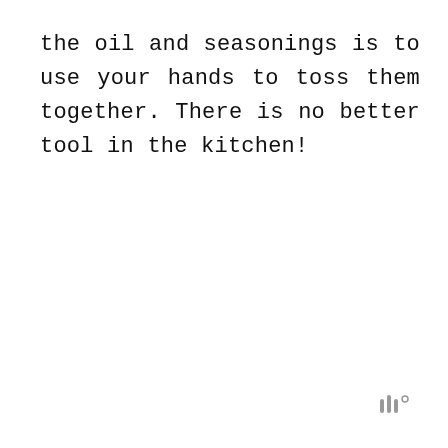the oil and seasonings is to use your hands to toss them together. There is no better tool in the kitchen!
[Figure (logo): Small grey logo mark in bottom right corner resembling three vertical bars with a degree symbol]